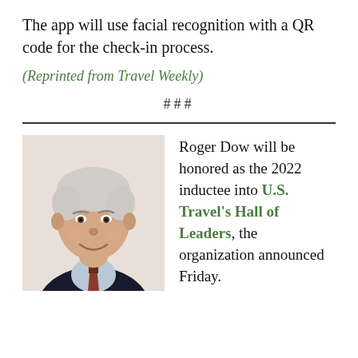The app will use facial recognition with a QR code for the check-in process.
(Reprinted from Travel Weekly)
###
[Figure (photo): Headshot portrait of Roger Dow, an older man with white hair wearing a dark suit and patterned tie, smiling.]
Roger Dow will be honored as the 2022 inductee into U.S. Travel's Hall of Leaders, the organization announced Friday.